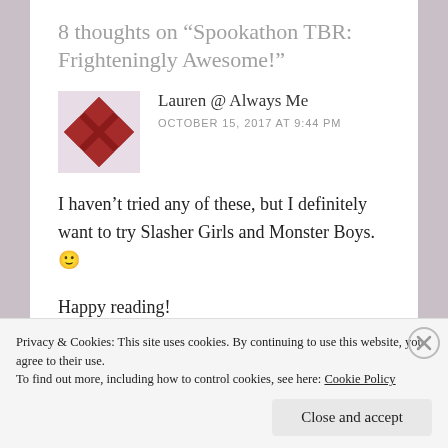8 thoughts on “Spookathon TBR: Frighteningly Awesome!”
Lauren @ Always Me
OCTOBER 15, 2017 AT 9:44 PM
I haven’t tried any of these, but I definitely want to try Slasher Girls and Monster Boys. 🙂
Happy reading!
Privacy & Cookies: This site uses cookies. By continuing to use this website, you agree to their use.
To find out more, including how to control cookies, see here: Cookie Policy